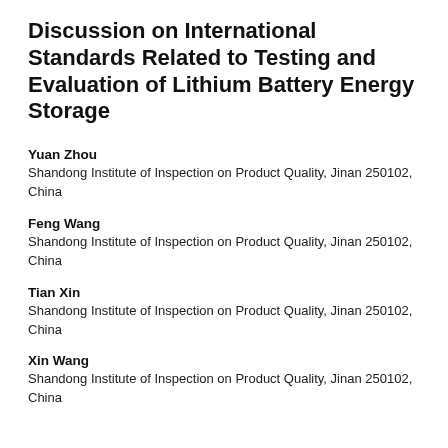Discussion on International Standards Related to Testing and Evaluation of Lithium Battery Energy Storage
Yuan Zhou
Shandong Institute of Inspection on Product Quality, Jinan 250102, China
Feng Wang
Shandong Institute of Inspection on Product Quality, Jinan 250102, China
Tian Xin
Shandong Institute of Inspection on Product Quality, Jinan 250102, China
Xin Wang
Shandong Institute of Inspection on Product Quality, Jinan 250102, China